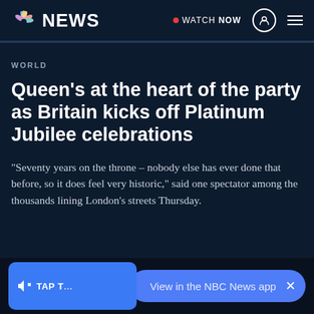NBC NEWS | WATCH NOW
WORLD
Queen's at the heart of the party as Britain kicks off Platinum Jubilee celebrations
“Seventy years on the throne – nobody else has ever done that before, so it does feel very historic,” said one spectator among the thousands lining London’s streets Thursday.
View in the NBC News app